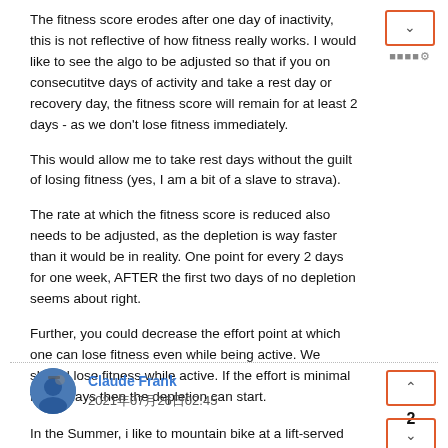The fitness score erodes after one day of inactivity, this is not reflective of how fitness really works. I would like to see the algo to be adjusted so that if you on consecutitve days of activity and take a rest day or recovery day, the fitness score will remain for at least 2 days - as we don't lose fitness immediately.

This would allow me to take rest days without the guilt of losing fitness (yes, I am a bit of a slave to strava).

The rate at which the fitness score is reduced also needs to be adjusted, as the depletion is way faster than it would be in reality. One point for every 2 days for one week, AFTER the first two days of no depletion seems about right.

Further, you could decrease the effort point at which one can lose fitness even while being active. We should lose fitness while active. If the effort is minimal for x# days then the depletion can start.
Claude Frank
2021年07月26日02:45
In the Summer, i like to mountain bike at a lift-served resort but I can't find a way to tag the ride as such and have Strava